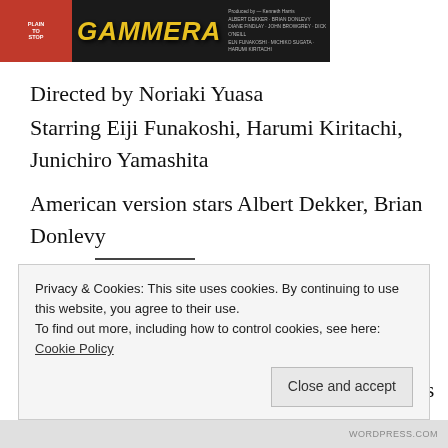[Figure (photo): Movie poster for Gamera showing the title in large yellow italic letters on dark background with cast credits on the right side]
Directed by Noriaki Yuasa
Starring Eiji Funakoshi, Harumi Kiritachi, Junichiro Yamashita
American version stars Albert Dekker, Brian Donlevy
Mill Creek's Blu-ray Gamera sets, Gamera: Ultimate Collection Volumes 1 and 2, have gotten some lukewarm reviews. They don't look all that good. The detail's fine, but things
Privacy & Cookies: This site uses cookies. By continuing to use this website, you agree to their use.
To find out more, including how to control cookies, see here: Cookie Policy
Close and accept